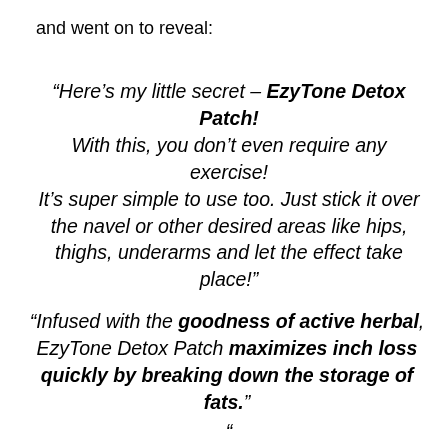and went on to reveal:
“Here’s my little secret – EzyTone Detox Patch! With this, you don’t even require any exercise! It’s super simple to use too. Just stick it over the navel or other desired areas like hips, thighs, underarms and let the effect take place!”
“Infused with the goodness of active herbal, EzyTone Detox Patch maximizes inch loss quickly by breaking down the storage of fats.”
“